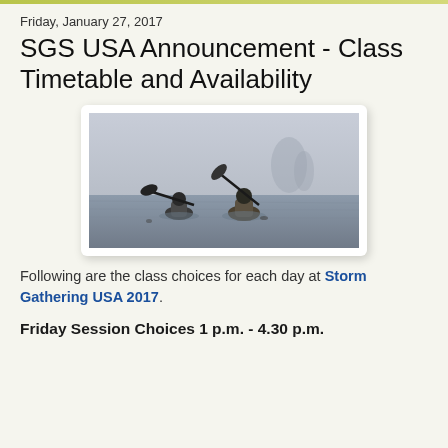Friday, January 27, 2017
SGS USA Announcement - Class Timetable and Availability
[Figure (photo): Two sea kayakers paddling in foggy, misty water with rocky sea stacks visible in the background]
Following are the class choices for each day at Storm Gathering USA 2017.
Friday Session Choices 1 p.m. - 4.30 p.m.